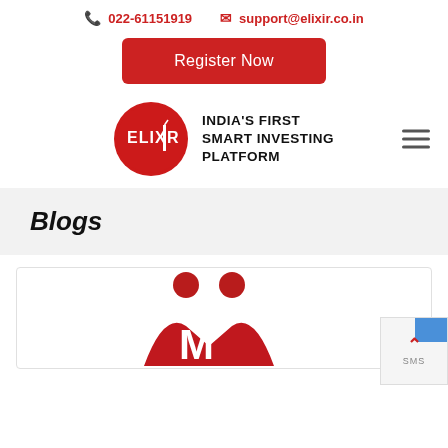022-61151919   support@elixir.co.in
[Figure (other): Red Register Now button]
[Figure (logo): Elixir logo — red circle with ELIXIR text, tagline INDIA'S FIRST SMART INVESTING PLATFORM, hamburger menu icon]
Blogs
[Figure (illustration): Red stylized M-shaped figures illustration at bottom of page, partially visible]